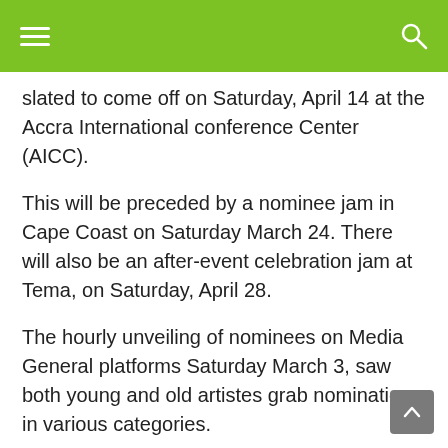slated to come off on Saturday, April 14 at the Accra International conference Center (AICC).
This will be preceded by a nominee jam in Cape Coast on Saturday March 24. There will also be an after-event celebration jam at Tema, on Saturday, April 28.
The hourly unveiling of nominees on Media General platforms Saturday March 3, saw both young and old artistes grab nominations in various categories.
Shatta Wale, who has been away from the VGMAs for a while due to a standoff with the organizers returns, grabbing a couple of nominations so far.